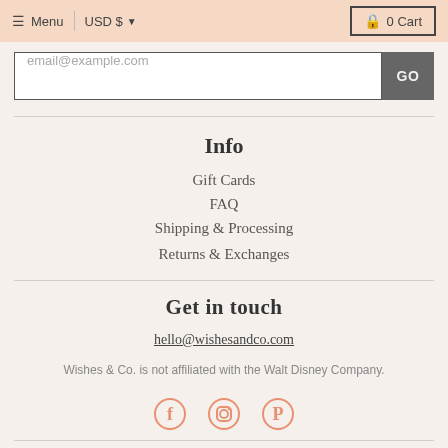≡ Menu  |  USD $  ▼   🔒 0 Cart
email@example.com
Info
Gift Cards
FAQ
Shipping & Processing
Returns & Exchanges
Get in touch
hello@wishesandco.com
Wishes & Co. is not affiliated with the Walt Disney Company.
[Figure (illustration): Social media icons: Facebook, Instagram, Pinterest in salmon/coral color]